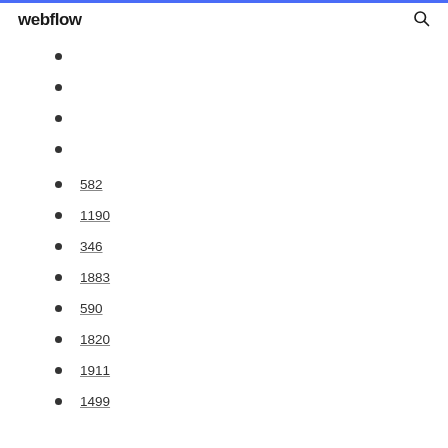webflow
582
1190
346
1883
590
1820
1911
1499